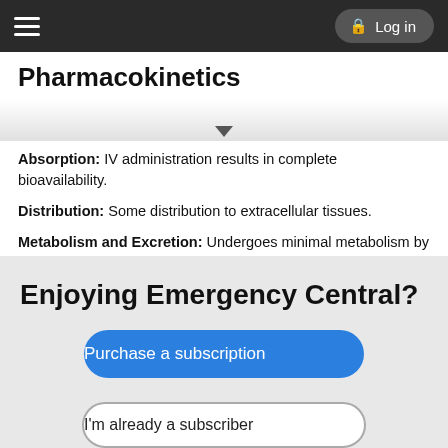≡   Log in
Pharmacokinetics
Absorption: IV administration results in complete bioavailability.
Distribution: Some distribution to extracellular tissues.
Metabolism and Excretion: Undergoes minimal metabolism by liver; primarily excreted in urine (99%; 91% as unchanged drug).
Half-life: 2–3 hr.
TIME/ACTION PROFILE (plasma concentrations)
| ROUTE | ONSET | PEAK | DURATION |
| --- | --- | --- | --- |
| IV | rapid | end of infusion | 8 hr |
Enjoying Emergency Central?
Purchase a subscription
I'm already a subscriber